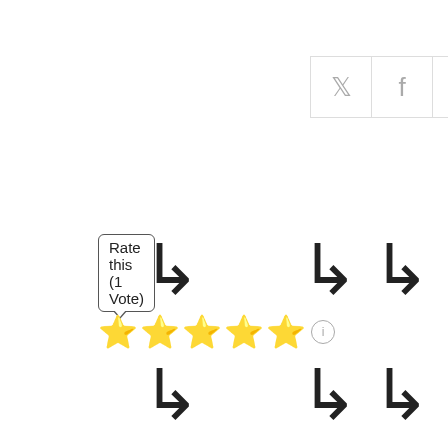[Figure (screenshot): Social share button bar with Twitter, Facebook, and Pinterest icons]
Rate this (1 Vote)
[Figure (infographic): Five yellow star rating with info icon]
[Figure (infographic): Six loading spinner icons arranged in a 3x2 grid]